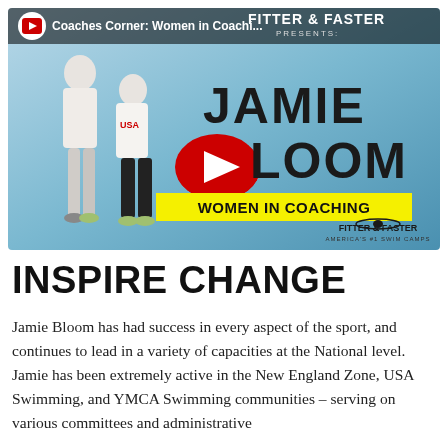[Figure (screenshot): YouTube video thumbnail for 'Coaches Corner: Women in Coaching' featuring Jamie Bloom. Shows Fitter & Faster swim camps branding, two people standing, JAMIE BLOOM text, YouTube play button, and WOMEN IN COACHING yellow banner.]
INSPIRE CHANGE
Jamie Bloom has had success in every aspect of the sport, and continues to lead in a variety of capacities at the National level. Jamie has been extremely active in the New England Zone, USA Swimming, and YMCA Swimming communities – serving on various committees and administrative